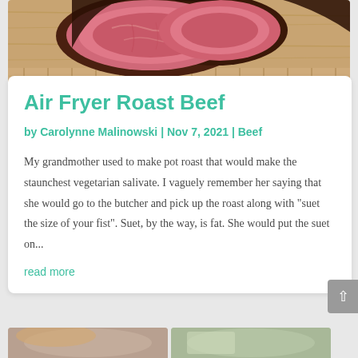[Figure (photo): Close-up photo of sliced roast beef on a wooden cutting board, showing pink interior and dark crust. RecipeThis.com watermark visible.]
Air Fryer Roast Beef
by Carolynne Malinowski | Nov 7, 2021 | Beef
My grandmother used to make pot roast that would make the staunchest vegetarian salivate. I vaguely remember her saying that she would go to the butcher and pick up the roast along with "suet the size of your fist". Suet, by the way, is fat. She would put the suet on...
read more